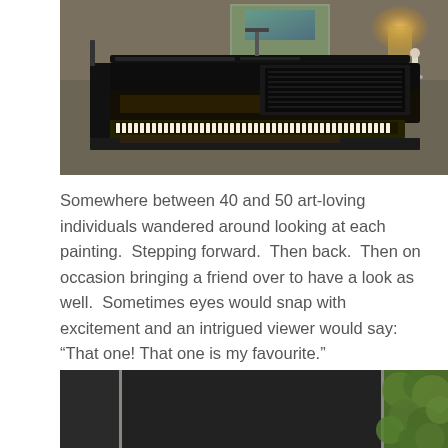[Figure (photo): A grand piano photographed from above showing the black lacquer lid propped open, keyboard visible at bottom, with a lamp glowing warmly on the right side and a small figurine, paintings visible on the wall in the background.]
Somewhere between 40 and 50 art-loving individuals wandered around looking at each painting.  Stepping forward.  Then back.  Then on occasion bringing a friend over to have a look as well.  Sometimes eyes would snap with excitement and an intrigued viewer would say: “That one! That one is my favourite.”
[Figure (photo): Partial view of dark-colored artwork panels or canvases displayed vertically, with green foliage visible on the right side through a window or outdoors.]